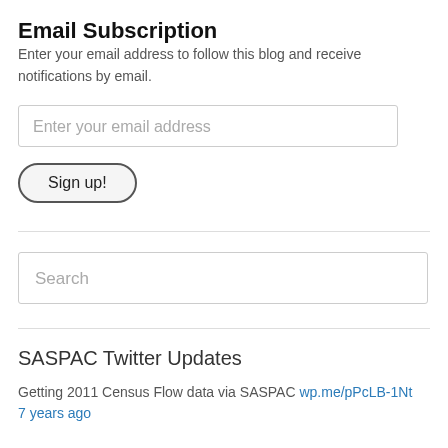Email Subscription
Enter your email address to follow this blog and receive notifications by email.
Enter your email address
Sign up!
Search
SASPAC Twitter Updates
Getting 2011 Census Flow data via SASPAC wp.me/pPcLB-1Nt
7 years ago